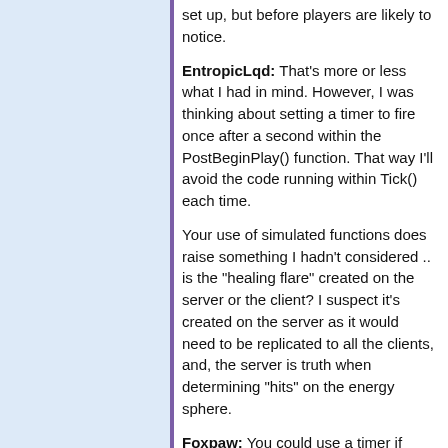set up, but before players are likely to notice.
EntropicLqd: That's more or less what I had in mind. However, I was thinking about setting a timer to fire once after a second within the PostBeginPlay() function. That way I'll avoid the code running within Tick() each time.
Your use of simulated functions does raise something I hadn't considered .. is the "healing flare" created on the server or the client? I suspect it's created on the server as it would need to be replicated to all the clients, and, the server is truth when determining "hits" on the energy sphere.
Foxpaw: You could use a timer if you'd like - though the code running in tick shouldn't be an issue. Reason being, that's very low impact code. (VERY low impact) It's only two (very) processor inexpensive operations. It's roughly on par with a single particle from a particle effect - less impact than a single light. So I wouldn't worry about it. ;)
As for the replication, I'm not sure about the